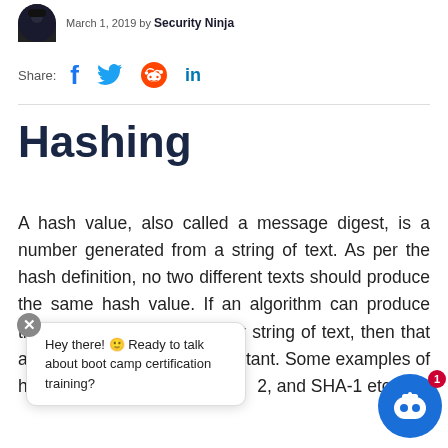March 1, 2019 by Security Ninja
Share:
Hashing
A hash value, also called a message digest, is a number generated from a string of text. As per the hash definition, no two different texts should produce the same hash value. If an algorithm can produce the same hash for a different string of text, then that algorithm is not collision resistant. Some examples of hashing algorithms include MD2, and SHA-1 etc.